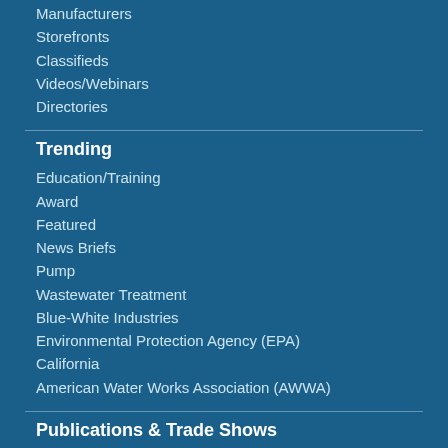Manufacturers
Storefronts
Classifieds
Videos/Webinars
Directories
Trending
Education/Training
Award
Featured
News Briefs
Pump
Wastewater Treatment
Blue-White Industries
Environmental Protection Agency (EPA)
California
American Water Works Association (AWWA)
Publications & Trade Shows
cleaner.com